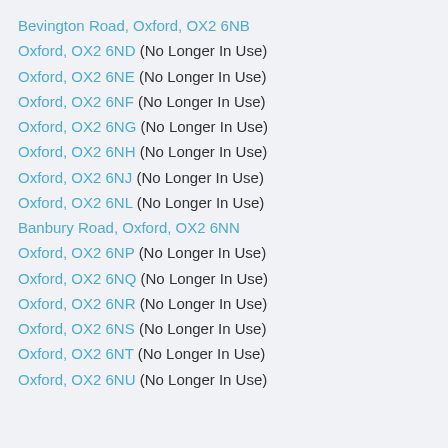Bevington Road, Oxford, OX2 6NB
Oxford, OX2 6ND (No Longer In Use)
Oxford, OX2 6NE (No Longer In Use)
Oxford, OX2 6NF (No Longer In Use)
Oxford, OX2 6NG (No Longer In Use)
Oxford, OX2 6NH (No Longer In Use)
Oxford, OX2 6NJ (No Longer In Use)
Oxford, OX2 6NL (No Longer In Use)
Banbury Road, Oxford, OX2 6NN
Oxford, OX2 6NP (No Longer In Use)
Oxford, OX2 6NQ (No Longer In Use)
Oxford, OX2 6NR (No Longer In Use)
Oxford, OX2 6NS (No Longer In Use)
Oxford, OX2 6NT (No Longer In Use)
Oxford, OX2 6NU (No Longer In Use)